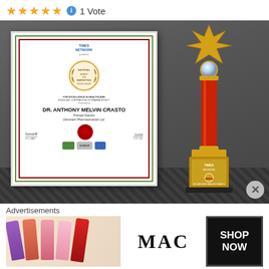⭐⭐⭐⭐⭐ ℹ 1 Vote
[Figure (photo): A framed Times Network award certificate for Dr. Anthony Melvin Crasto, Principal Scientist at Glenmark Pharmaceuticals Ltd., displayed alongside a gold and red trophy with a star/crystal top, on a dark patterned background.]
Advertisements
[Figure (photo): MAC cosmetics advertisement banner showing multiple lipsticks in purple, coral, pink and red shades on the left, MAC logo in the center, and a black 'SHOP NOW' button on the right.]